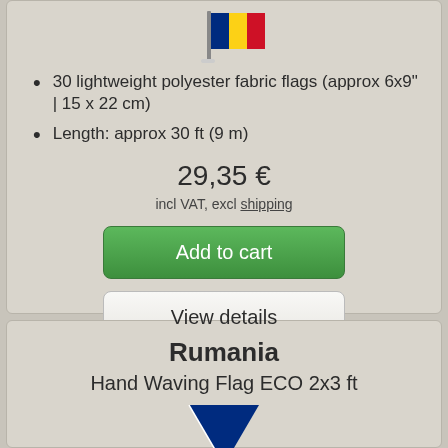[Figure (illustration): Romanian flag on a pole - top portion visible]
30 lightweight polyester fabric flags (approx 6x9" | 15 x 22 cm)
Length: approx 30 ft (9 m)
29,35 €
incl VAT, excl shipping
Add to cart
View details
Rumania
Hand Waving Flag ECO 2x3 ft
[Figure (illustration): Blue flag partially visible at bottom of page]